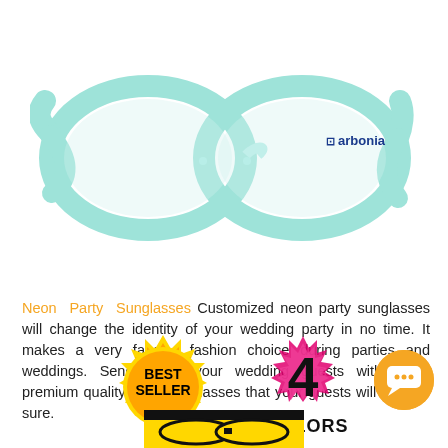[Figure (photo): Light mint/teal colored wayfarer-style sunglasses with clear lenses, featuring 'arbonia' logo on the right temple arm]
Neon Party Sunglasses Customized neon party sunglasses will change the identity of your wedding party in no time. It makes a very fanciful fashion choice during parties and weddings. Send home your wedding guests with these premium quality party sunglasses that your guests will love for sure.
[Figure (illustration): Best Seller badge - circular yellow/gold starburst badge with black text reading BEST SELLER]
[Figure (illustration): 4 COLORS text with pink/magenta starburst behind the number 4, with COLORS in black bold text below]
[Figure (illustration): Orange circular chat/message button icon in bottom right]
[Figure (photo): Yellow/black neon party sunglasses shown at bottom center, partially visible]